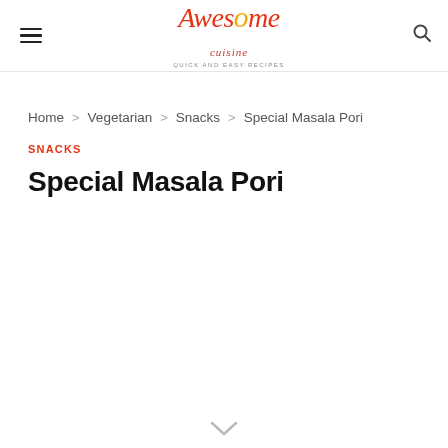Awesome Cuisine — Quick and Easy Recipes
Home > Vegetarian > Snacks > Special Masala Pori
SNACKS
Special Masala Pori